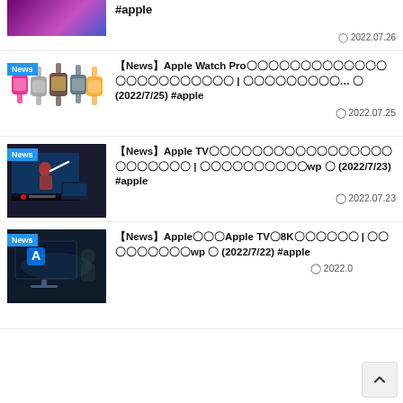[Figure (screenshot): Partial top article thumbnail - purple/pink gradient with silhouette figure. Date: 2022.07.26. Title ends with #apple]
#apple
2022.07.26
[Figure (photo): Apple Watch Pro article - multiple colorful Apple Watch models on white background. News badge.]
【News】Apple Watch Pro〇〇〇〇〇〇〇〇〇〇〇〇〇〇〇〇〇〇〇〇〇〇〇〇 | 〇〇〇〇〇〇〇〇〇… 〇 (2022/7/25) #apple
2022.07.25
[Figure (screenshot): Apple TV article - dark screenshot showing baseball player swinging with Apple TV interface. News badge.]
【News】Apple TV〇〇〇〇〇〇〇〇〇〇〇〇〇〇〇〇〇〇〇〇〇〇〇〇 | 〇〇〇〇〇〇〇〇〇〇wp 〇 (2022/7/23) #apple
2022.07.23
[Figure (screenshot): Apple TV 8K article - dark image with large TV showing colorful app icons. News badge.]
【News】Apple〇〇〇Apple TV〇8K〇〇〇〇〇〇 | 〇〇〇〇〇〇〇〇〇wp 〇 (2022/7/22) #apple
2022.0...